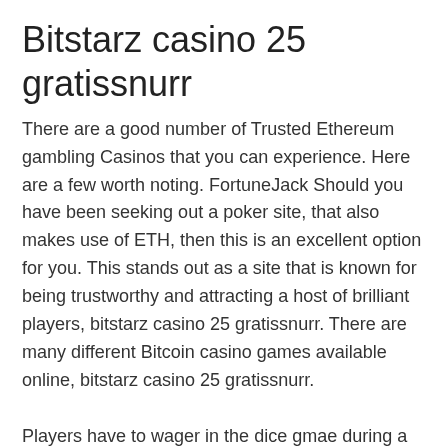Bitstarz casino 25 gratissnurr
There are a good number of Trusted Ethereum gambling Casinos that you can experience. Here are a few worth noting. FortuneJack Should you have been seeking out a poker site, that also makes use of ETH, then this is an excellent option for you. This stands out as a site that is known for being trustworthy and attracting a host of brilliant players, bitstarz casino 25 gratissnurr. There are many different Bitcoin casino games available online, bitstarz casino 25 gratissnurr.
Players have to wager in the dice gmae during a certain amount of time. Players who wager the most during that time, will get nice prizes. Especially, if you play dice game with bitcoin or crypto, it gives huge inspiration,